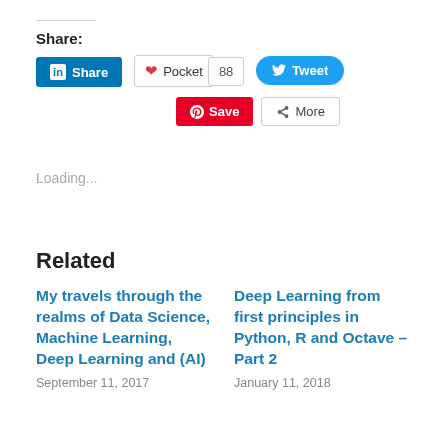Share:
[Figure (screenshot): Social sharing buttons: LinkedIn Share, Pocket (88), Tweet, Pinterest Save, More]
Loading...
Related
My travels through the realms of Data Science, Machine Learning, Deep Learning and (AI)
September 11, 2017
Deep Learning from first principles in Python, R and Octave – Part 2
January 11, 2018